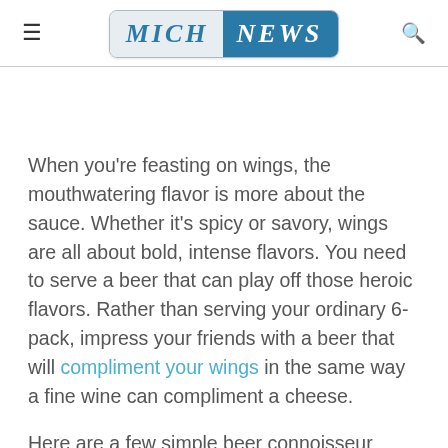≡  MICH NEWS  🔍
When you're feasting on wings, the mouthwatering flavor is more about the sauce. Whether it's spicy or savory, wings are all about bold, intense flavors. You need to serve a beer that can play off those heroic flavors. Rather than serving your ordinary 6-pack, impress your friends with a beer that will compliment your wings in the same way a fine wine can compliment a cheese.
Here are a few simple beer connoisseur rules to